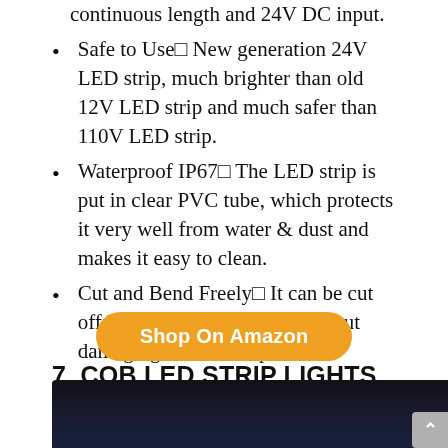continuous length and 24V DC input.
Safe to Use□ New generation 24V LED strip, much brighter than old 12V LED strip and much safer than 110V LED strip.
Waterproof IP67□ The LED strip is put in clear PVC tube, which protects it very well from water & dust and makes it easy to clean.
Cut and Bend Freely□ It can be cut off between every 6 LED without damaging the rest strip.
Shop On Amazon
7. COB LED STRIP LIGHTS DAYLIGHT WHITE 6000K
[Figure (photo): Dark product photo of COB LED strip lights, dark background]